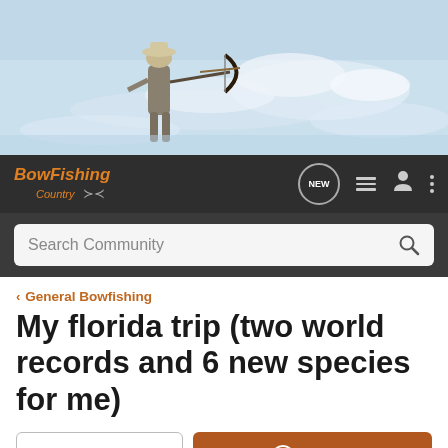[Figure (photo): Hero banner photo of a person doing bowfishing, standing in water aiming a bow, with rapids/whitewater in the background.]
BowFishing Country — NEW — navigation icons — Search Community
General Bowfishing
My florida trip (two world records and 6 new species for me)
→ Jump to Latest    + Follow
1 - 13 of 13 Posts